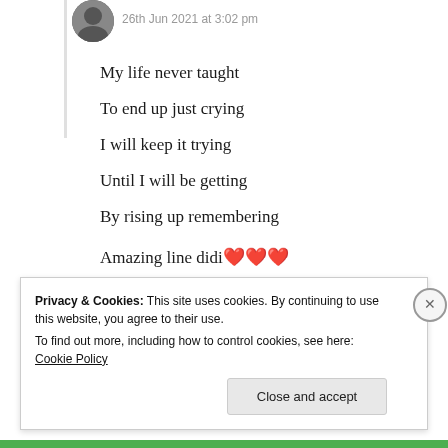26th Jun 2021 at 3:02 pm
My life never taught
To end up just crying
I will keep it trying
Until I will be getting
By rising up remembering

Amazing line didi ❤❤❤
★ Liked by 3 people
Privacy & Cookies: This site uses cookies. By continuing to use this website, you agree to their use.
To find out more, including how to control cookies, see here: Cookie Policy
Close and accept